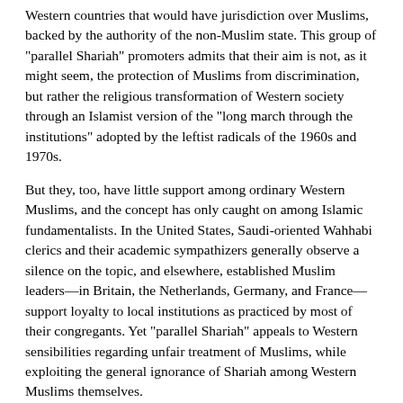Western countries that would have jurisdiction over Muslims, backed by the authority of the non-Muslim state. This group of "parallel Shariah" promoters admits that their aim is not, as it might seem, the protection of Muslims from discrimination, but rather the religious transformation of Western society through an Islamist version of the "long march through the institutions" adopted by the leftist radicals of the 1960s and 1970s.
But they, too, have little support among ordinary Western Muslims, and the concept has only caught on among Islamic fundamentalists. In the United States, Saudi-oriented Wahhabi clerics and their academic sympathizers generally observe a silence on the topic, and elsewhere, established Muslim leaders—in Britain, the Netherlands, Germany, and France—support loyalty to local institutions as practiced by most of their congregants. Yet "parallel Shariah" appeals to Western sensibilities regarding unfair treatment of Muslims, while exploiting the general ignorance of Shariah among Western Muslims themselves.
Some supporters of Shariah in Canada and the United Kingdom have called for introduction of "Islamic mediation services" in which Shariah decisions would be rendered through conciliation by clerics, with enforcement by the non-Muslim authorities. But even if such a legal paradigm were based on exclusively voluntary participation, the probability remains that such proceedings, in the U.K. and Canadian Muslim communities, would be...